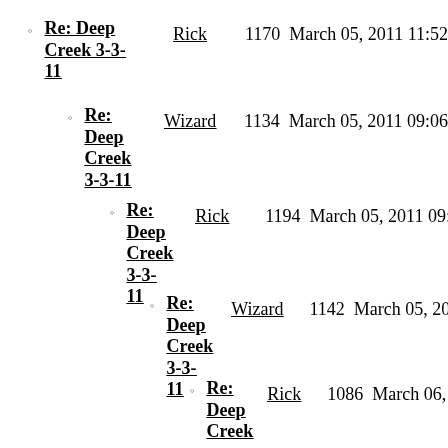Re: Deep Creek 3-3-11  Rick  1170  March 05, 2011 11:52
Re: Deep Creek 3-3-11  Wizard  1134  March 05, 2011 09:06
Re: Deep Creek 3-3-11  Rick  1194  March 05, 2011 09:19
Re: Deep Creek 3-3-11  Wizard  1142  March 05, 2011 11:01
Re: Deep Creek 3-3-11  Rick  1086  March 06, 2011 06:15